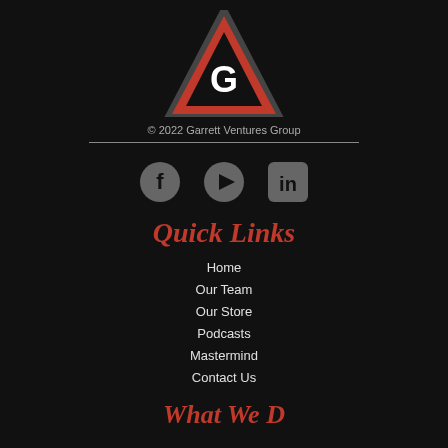[Figure (logo): Garrett Ventures Group logo: red triangle with white letter G in center, dark gray triangle outline overlapping]
© 2022 Garrett Ventures Group
[Figure (infographic): Social media icons: Facebook circle icon, YouTube play button icon, LinkedIn square icon — all in medium gray on dark background]
Quick Links
Home
Our Team
Our Store
Podcasts
Mastermind
Contact Us
What We D…